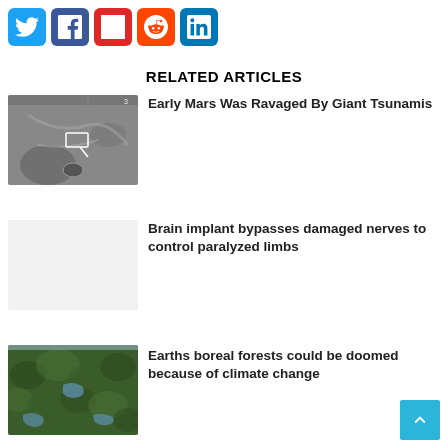[Figure (infographic): Social media sharing icons row: Twitter (blue), Facebook (dark blue), Flipboard (red), Reddit (orange-red), LinkedIn (blue)]
RELATED ARTICLES
[Figure (photo): Black and white aerial/satellite image of Mars surface terrain with craters and an arrow annotation]
Early Mars Was Ravaged By Giant Tsunamis
[Figure (photo): Light gray placeholder image for brain implant article]
Brain implant bypasses damaged nerves to control paralyzed limbs
[Figure (photo): Aerial photograph of boreal forest landscape with lakes and rivers visible through dense tree cover]
Earths boreal forests could be doomed because of climate change